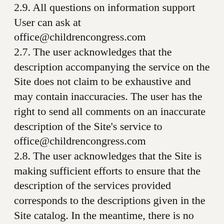2.9. All questions on information support User can ask at office@childrencongress.com
2.7. The user acknowledges that the description accompanying the service on the Site does not claim to be exhaustive and may contain inaccuracies. The user has the right to send all comments on an inaccurate description of the Site's service to office@childrencongress.com
2.8. The user acknowledges that the Site is making sufficient efforts to ensure that the description of the services provided corresponds to the descriptions given in the Site catalog. In the meantime, there is no need to know about it. "
3. Obligations of the User
3.1. The user agrees not to take action, not to upload content and not to leave comments and entries that may be considered as violating